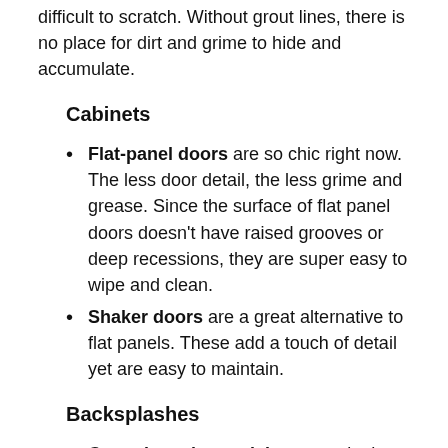difficult to scratch. Without grout lines, there is no place for dirt and grime to hide and accumulate.
Cabinets
Flat-panel doors are so chic right now. The less door detail, the less grime and grease. Since the surface of flat panel doors doesn't have raised grooves or deep recessions, they are super easy to wipe and clean.
Shaker doors are a great alternative to flat panels. These add a touch of detail yet are easy to maintain.
Backsplashes
Ceramic and porcelain are again the clear winners here, as they are nonporous and repel water, don't require sealing, and are generally durable.
Glass is super easy to wipe down, thanks to its smooth finish. Though their highly reflective surface shows